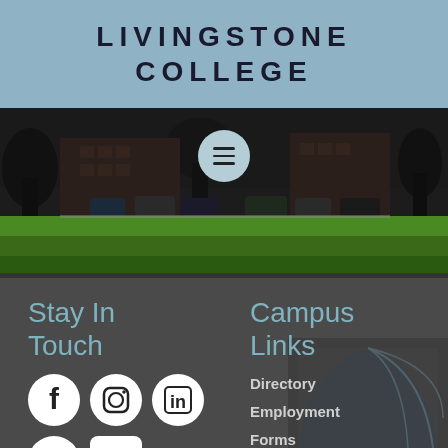LIVINGSTONE COLLEGE
[Figure (photo): Livingstone College campus photo showing green lawn, parked cars and brick buildings with trees, with a circular hamburger menu button overlay]
Stay In Touch
Campus Links
[Figure (infographic): Social media icons: Facebook, Instagram, LinkedIn, Twitter, YouTube]
Directory
Employment
Forms